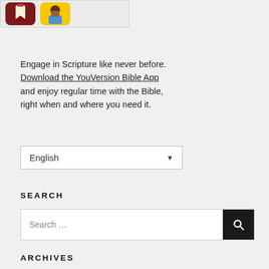[Figure (screenshot): Two app icons partially visible at top: a Bible app icon (dark red with bookmark) and a character/Bible stories app icon (yellow background with illustrated figure)]
Engage in Scripture like never before. Download the YouVersion Bible App and enjoy regular time with the Bible, right when and where you need it.
[Figure (screenshot): English language dropdown selector with down arrow]
SEARCH
[Figure (screenshot): Search input field with placeholder text 'Search ...' and a dark search button with magnifying glass icon]
ARCHIVES